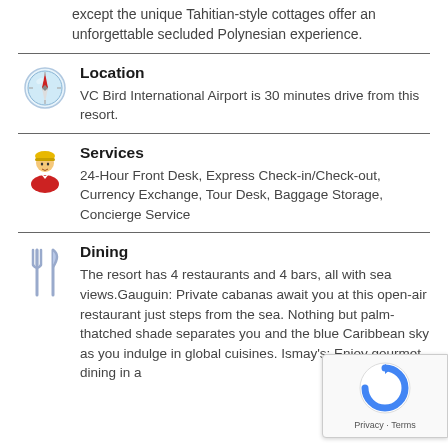except the unique Tahitian-style cottages offer an unforgettable secluded Polynesian experience.
Location
VC Bird International Airport is 30 minutes drive from this resort.
Services
24-Hour Front Desk, Express Check-in/Check-out, Currency Exchange, Tour Desk, Baggage Storage, Concierge Service
Dining
The resort has 4 restaurants and 4 bars, all with sea views.Gauguin: Private cabanas await you at this open-air restaurant just steps from the sea. Nothing but palm-thatched shade separates you and the blue Caribbean sky as you indulge in global cuisines. Ismay's: Enjoy gourmet dining in a
[Figure (logo): reCAPTCHA badge with Privacy and Terms links]